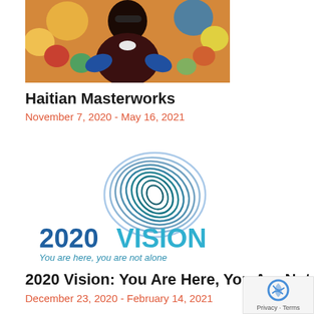[Figure (photo): Painting of a person with dark skin, wearing a dark outfit with blue accents, surrounded by colorful flowers on a warm background.]
Haitian Masterworks
November 7, 2020 - May 16, 2021
[Figure (logo): 2020 Vision logo: concentric oval rings in blue/teal gradient forming an eye/iris shape, with text '2020 VISION' and tagline 'You are here, you are not alone']
2020 Vision: You Are Here, You Are Not Alone
December 23, 2020 - February 14, 2021